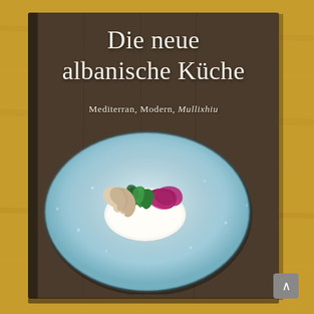[Figure (photo): A cookbook cover photo showing a beautifully plated dish on a light blue/turquoise speckled ceramic plate against a dark brown wooden background. The dish consists of white cream/yogurt base topped with green spinach leaves, pink/red beet slices, and beige/cream colored meat or mushroom slices. The book is photographed on a light wood surface.]
Die neue albanische Küche
Mediterran, Modern, Mullixhiu